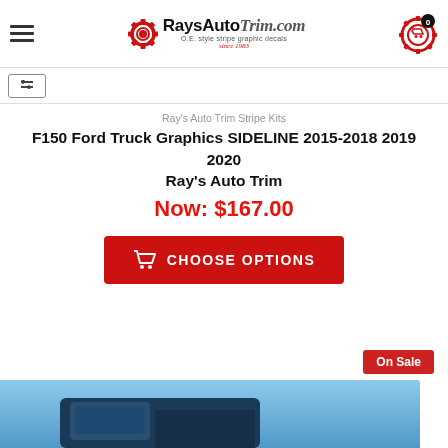[Figure (logo): RaysAutoTrim.com logo with gear icon, tagline 'O.E. style stripe graphic decals since 1983']
[Figure (other): Hamburger menu icon (three horizontal lines)]
[Figure (other): Shopping cart icon with badge showing 0]
[Figure (other): Filter/sort icon button]
Ray's Auto Trim Stripe Kits
F150 Ford Truck Graphics SIDELINE 2015-2018 2019 2020 Ray's Auto Trim
Now: $167.00
CHOOSE OPTIONS
On Sale
[Figure (photo): Partial photo of a blue Ford F150 truck cab against a blue sky background]